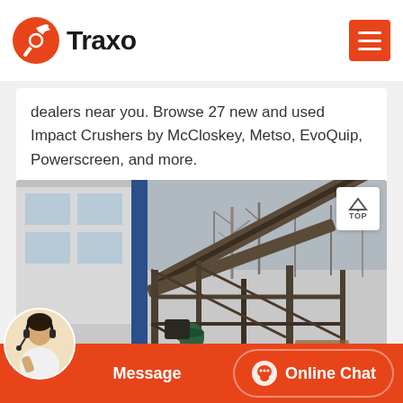Traxo
dealers near you. Browse 27 new and used Impact Crushers by McCloskey, Metso, EvoQuip, Powerscreen, and more.
[Figure (photo): Industrial conveyor belt / impact crusher machinery setup outdoors with bare trees in the background and a building on the left side]
Message | Online Chat